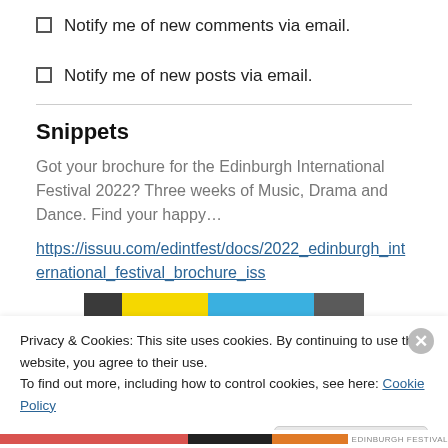Notify me of new comments via email.
Notify me of new posts via email.
Snippets
Got your brochure for the Edinburgh International Festival 2022? Three weeks of Music, Drama and Dance. Find your happy…
https://issuu.com/edintfest/docs/2022_edinburgh_international_festival_brochure_iss
[Figure (photo): Colorful banner/brochure image with dark, yellow, and blue sections, text partially visible]
Privacy & Cookies: This site uses cookies. By continuing to use this website, you agree to their use.
To find out more, including how to control cookies, see here: Cookie Policy
Close and accept